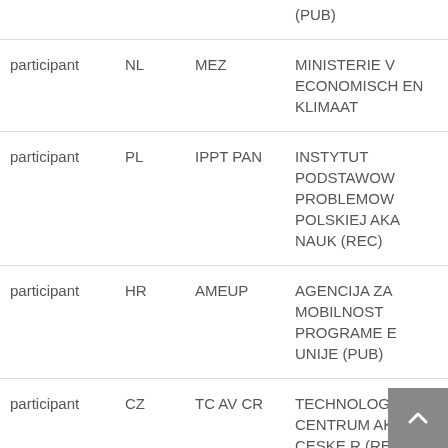| Role | Country | Short Name | Organisation |
| --- | --- | --- | --- |
|  |  |  | (PUB) |
| participant | NL | MEZ | MINISTERIE V ECONOMISCH EN KLIMAAT |
| participant | PL | IPPT PAN | INSTYTUT PODSTAWOW PROBLEMOW POLSKIEJ AKA NAUK (REC) |
| participant | HR | AMEUP | AGENCIJA ZA MOBILNOST PROGRAME E UNIJE (PUB) |
| participant | CZ | TC AV CR | TECHNOLOG CENTRUM AK VED CESKE R (REC) |